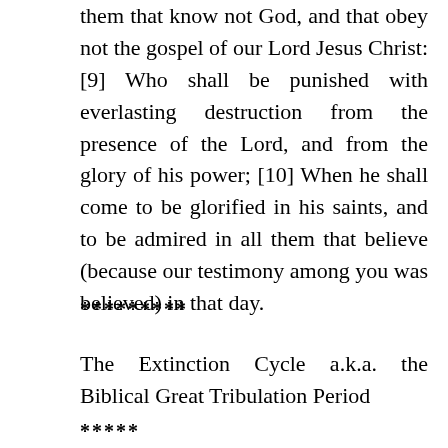them that know not God, and that obey not the gospel of our Lord Jesus Christ: [9] Who shall be punished with everlasting destruction from the presence of the Lord, and from the glory of his power; [10] When he shall come to be glorified in his saints, and to be admired in all them that believe (because our testimony among you was believed) in that day.
*********
The Extinction Cycle a.k.a. the Biblical Great Tribulation Period
*****